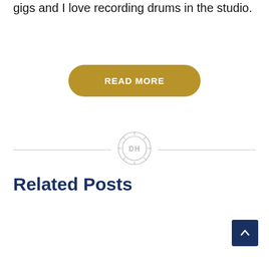gigs and I love recording drums in the studio.
READ MORE
[Figure (logo): Circular emblem/logo with letters DH in the center, surrounded by decorative ring with radiating spokes, light gray outline style]
Related Posts